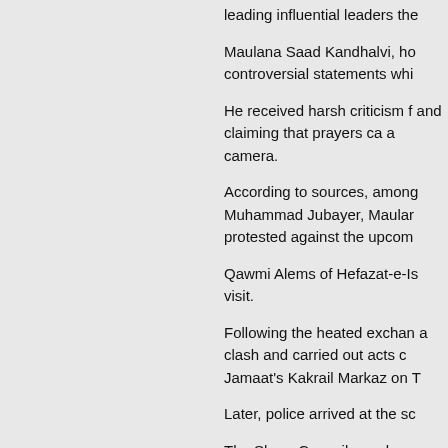leading influential leaders the
Maulana Saad Kandhalvi, ho controversial statements whi
He received harsh criticism f and claiming that prayers ca a camera.
According to sources, among Muhammad Jubayer, Maular protested against the upcom
Qawmi Alems of Hefazat-e-Is visit.
Following the heated exchan a clash and carried out acts c Jamaat's Kakrail Markaz on T
Later, police arrived at the sc
The Shura Council members agreed upon some terms to b
When approached, the son o